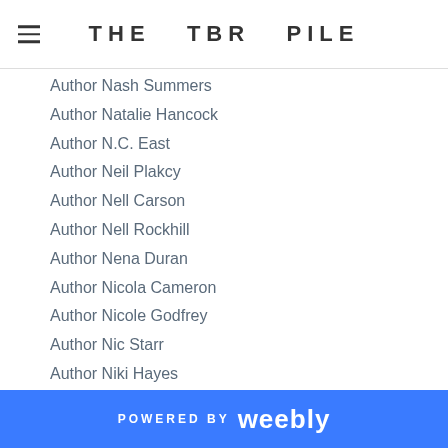THE TBR PILE
Author Nash Summers
Author Natalie Hancock
Author N.C. East
Author Neil Plakcy
Author Nell Carson
Author Nell Rockhill
Author Nena Duran
Author Nicola Cameron
Author Nicole Godfrey
Author Nic Starr
Author Niki Hayes
Author Nikka Michaels
Author Nikki Lynn Barrett
Author Nikki Prince
Author Nina Pierce
Author N. Isabelle Bianco
Author N.J. Walters
POWERED BY weebly